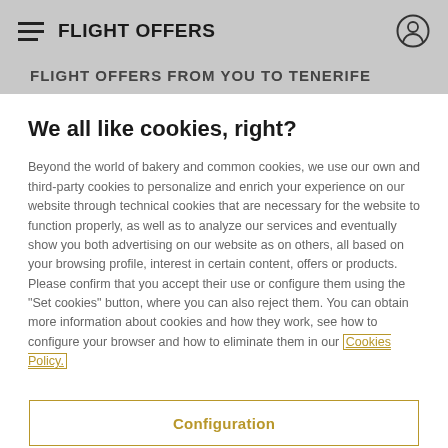FLIGHT OFFERS
FLIGHT OFFERS FROM YOU TO TENERIFE
We all like cookies, right?
Beyond the world of bakery and common cookies, we use our own and third-party cookies to personalize and enrich your experience on our website through technical cookies that are necessary for the website to function properly, as well as to analyze our services and eventually show you both advertising on our website as on others, all based on your browsing profile, interest in certain content, offers or products. Please confirm that you accept their use or configure them using the "Set cookies" button, where you can also reject them. You can obtain more information about cookies and how they work, see how to configure your browser and how to eliminate them in our Cookies Policy.
Configuration